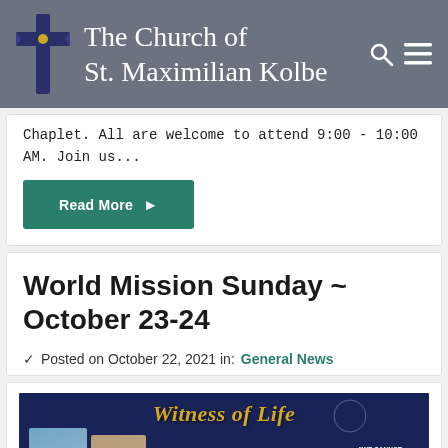The Church of St. Maximilian Kolbe
Chaplet. All are welcome to attend 9:00 - 10:00 AM. Join us...
Read More
World Mission Sunday ~ October 23-24
Posted on October 22, 2021 in: General News
[Figure (photo): World Mission Sunday promotional image with title 'Witness of Life' in gold text on dark blue background with photos of people and quote 'We cannot but speak about what we have']